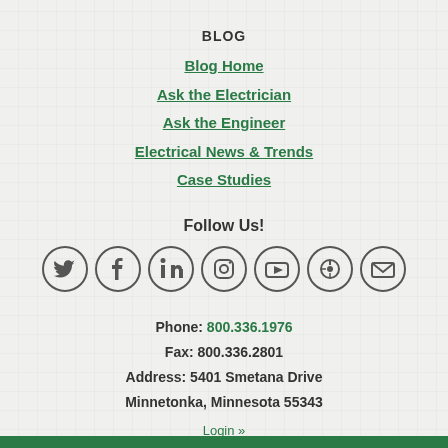BLOG
Blog Home
Ask the Electrician
Ask the Engineer
Electrical News & Trends
Case Studies
Follow Us!
[Figure (infographic): Seven circular social media icons in a row: Twitter, Facebook, LinkedIn, Instagram, YouTube, Pinterest, Email]
Phone: 800.336.1976
Fax: 800.336.2801
Address: 5401 Smetana Drive
Minnetonka, Minnesota 55343
Login »